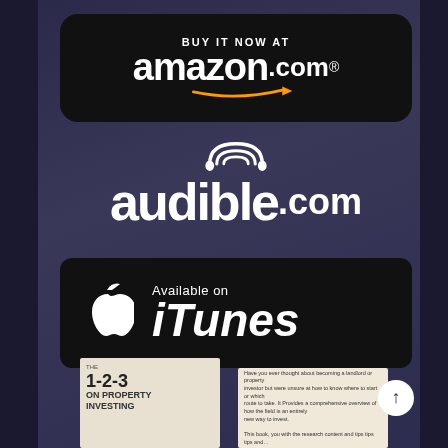[Figure (logo): Amazon.com 'Buy It Now At' black rounded badge with Amazon logo and orange arrow]
[Figure (logo): audible.com logo in white with headphone icon on dark purple background]
[Figure (logo): Available on iTunes black badge with white Apple logo]
[Figure (photo): Book cover: The 1-2-3 On Property Investing shown at bottom left]
[Figure (photo): Second book cover at bottom right, partially visible]